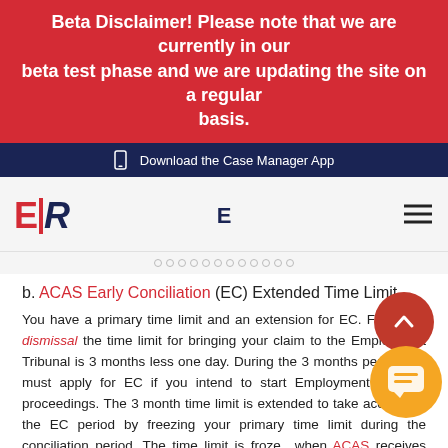Beta Disclaimer! Please note that we are currently in our beta test phase and we are updating the site on a regular basis.
Download the Case Manager App
[Figure (logo): ER logo with red E and navy R, plus letter E in navy in the center, and hamburger menu icon on the right]
b. ACAS Early Conciliation (EC) Extended Time Limit.
You have a primary time limit and an extension for EC. For unfair dismissal the time limit for bringing your claim to the Employment Tribunal is 3 months less one day. During the 3 months period you must apply for EC if you intend to start Employment Tribunal proceedings. The 3 month time limit is extended to take account of the EC period by freezing your primary time limit during the conciliation period. The time limit is frozen when ACAS receives your application for EC to when you receive the EC certificate.